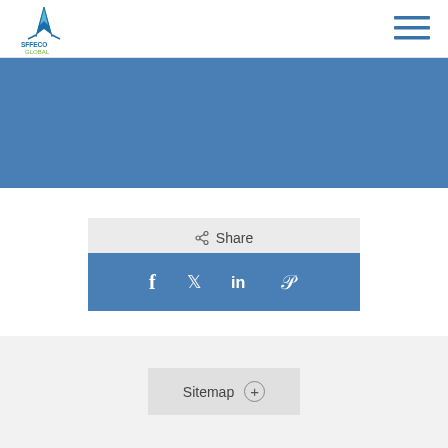SFFECO GLOBAL logo and navigation
[Figure (logo): SFFECO GLOBAL logo with blue spike graphic and text]
[Figure (other): Hamburger menu icon with three horizontal blue lines]
[Figure (other): Blue banner background area]
< Share
[Figure (other): Social share bar with Facebook, Twitter, LinkedIn, Pinterest icons on blue background]
Sitemap +